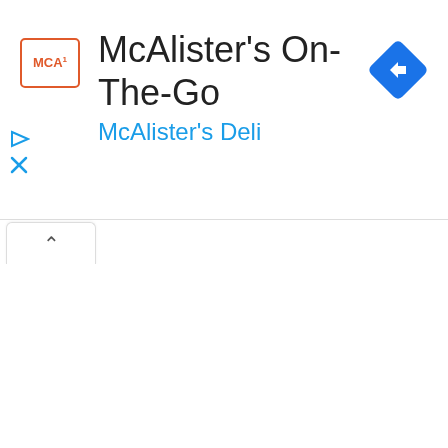[Figure (logo): McAlister's Deli logo in a red-bordered box with text MCA in red]
McAlister's On-The-Go
McAlister's Deli
[Figure (other): Blue diamond-shaped navigation/directions icon with white right-turn arrow]
[Figure (other): Blue triangle play icon and blue X icon on the left side]
[Figure (other): Tab with chevron up arrow (^) indicating a collapsible panel]